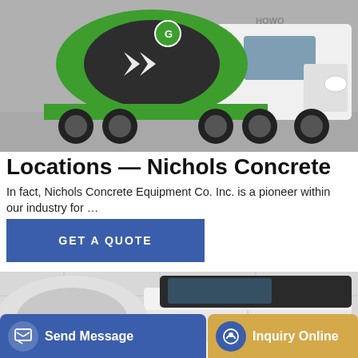[Figure (photo): Green and white HOWO concrete mixer truck on a gray surface, viewed from the front-left angle. The mixing drum is dark with green chevron arrows and a logo.]
Locations — Nichols Concrete
In fact, Nichols Concrete Equipment Co. Inc. is a pioneer within our industry for …
[Figure (other): Blue button with text GET A QUOTE in white capital letters]
[Figure (photo): White and black concrete mixer truck, partial view from the front-right, in a light gray industrial setting.]
[Figure (other): Bottom navigation bar with two buttons: 'Send Message' (blue with message icon) and 'Inquiry Online' (tan/gold with headset icon)]